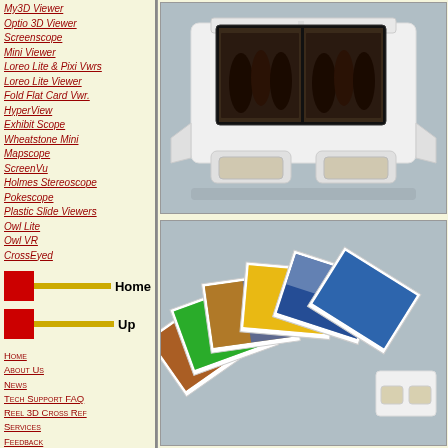My3D Viewer
Optio 3D Viewer
Screenscope
Mini Viewer
Loreo Lite & Pixi Vwrs
Loreo Lite Viewer
Fold Flat Card Vwr.
HyperView
Exhibit Scope
Wheatstone Mini
Mapscope
ScreenVu
Holmes Stereoscope
Pokescope
Plastic Slide Viewers
Owl Lite
Owl VR
CrossEyed
Home
Up
Home
About Us
News
Tech Support FAQ
Reel 3D Cross Ref
Services
Feedback
Order Info
[Figure (photo): A white plastic stereoscope/VR viewer holding a smartphone displaying a 3D image, viewed from the front on a blue/grey background]
[Figure (photo): A fan of stereoscopic photo cards spread out next to a small white plastic viewer on a blue/grey background]